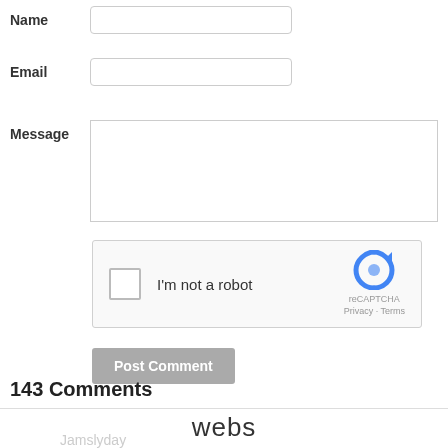Name
Email
Message
[Figure (screenshot): reCAPTCHA widget with checkbox labeled 'I'm not a robot', reCAPTCHA logo, Privacy and Terms links]
Post Comment
143 Comments
webs
Jamslyday